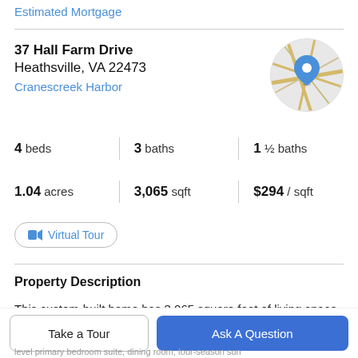Estimated Mortgage
37 Hall Farm Drive
Heathsville, VA 22473
Cranescreek Harbor
[Figure (map): Circular map thumbnail showing road map with blue location pin marker]
4 beds | 3 baths | 1 ½ baths
1.04 acres | 3,065 sqft | $294 / sqft
Virtual Tour
Property Description
This custom-built home has 3,065 square feet of living space and offers elements of both a traditional and open
Take a Tour
Ask A Question